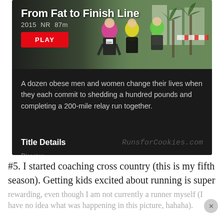[Figure (screenshot): Netflix app screenshot showing 'From Fat to Finish Line' documentary. Dark background with photo of runners at a race event, a red PLAY button, description text, and 'Title Details' footer with RunsforCookies.com watermark.]
#5. I started coaching cross country (this is my fifth season). Getting kids excited about running is super rewarding, even though I am not currently a runner myself (I have no idea what was happening in this picture, hahaha).